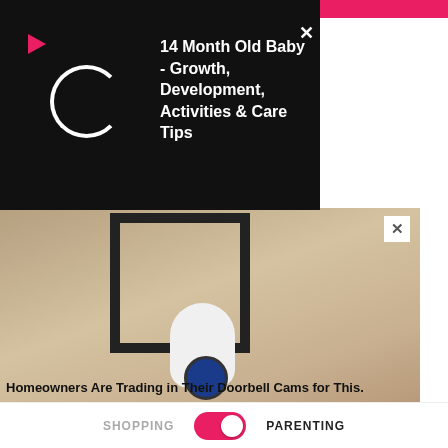[Figure (screenshot): Black notification panel overlay on a website. Shows a loading circle icon, a red play button arrow icon, and text: '14 Month Old Baby - Growth, Development, Activities & Care Tips'. Has a close X button.]
[Figure (photo): Outdoor security camera mounted on a wall bracket against a textured beige/tan wall.]
Homeowners Are Trading in Their Doorbell Cams for This.
Keilini
[Figure (screenshot): Yellow background ad section with inner white panel showing a red header bar, an INOVA health advertisement: 'Knowing your lung cancer risk is essential.' with a 'Request a Consult' blue button, INOVA logo, and a photo of an older man with white beard.]
SHOPPING
PARENTING